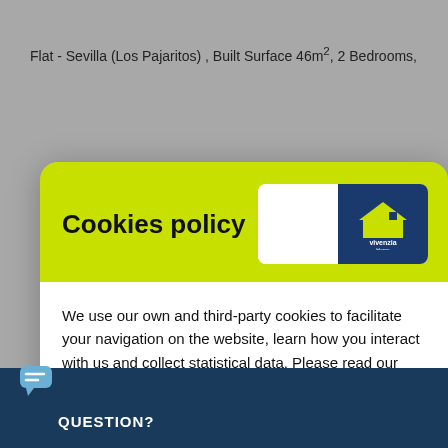Flat - Sevilla (Los Pajaritos) , Built Surface 46m², 2 Bedrooms,
[Figure (screenshot): Cookies policy modal dialog with yellow-green header containing 'Cookies policy' title and Vivenzia Home logo. White body with cookie consent text and two buttons: 'Manage Cookies' and 'Accept all'.]
We use our own and third-party cookies to facilitate your navigation on the website, learn how you interact with us and collect statistical data. Please read our Cookies Policy to learn more about the cookies we use, their purpose and how to configure or reject them, if you consider it so.
Manage Cookies
Accept all
QUESTION?